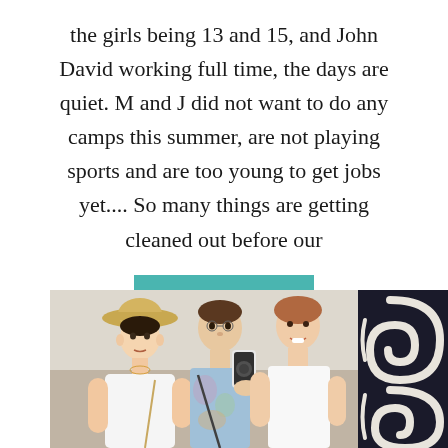the girls being 13 and 15, and John David working full time, the days are quiet. M and J did not want to do any camps this summer, are not playing sports and are too young to get jobs yet.... So many things are getting cleaned out before our
READ MORE >>
[Figure (photo): Mirror selfie photo of three people (two young women and an older woman), taken in what appears to be a store fitting room or ornate interior. The person on the left wears a straw hat and white top, middle person wears a tie-dye shirt and holds a phone taking the selfie, right person wears a white top and is smiling. On the right side of the image is a decorative white scroll/swirl frame element against a dark background.]